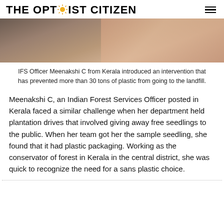THE OPTIMIST CITIZEN
[Figure (photo): Photo of a woman handling a tree or plant, colorful clothing visible in the background]
IFS Officer Meenakshi C from Kerala introduced an intervention that has prevented more than 30 tons of plastic from going to the landfill.
Meenakshi C, an Indian Forest Services Officer posted in Kerala faced a similar challenge when her department held plantation drives that involved giving away free seedlings to the public. When her team got her the sample seedling, she found that it had plastic packaging. Working as the conservator of forest in Kerala in the central district, she was quick to recognize the need for a sans plastic choice.